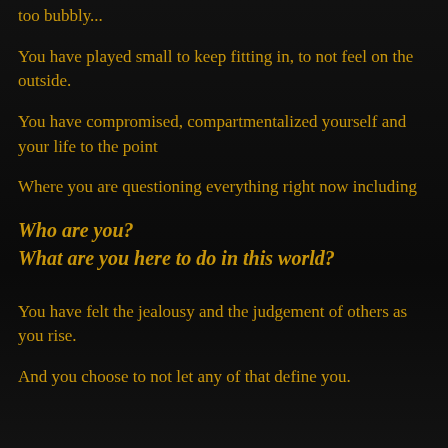too bubbly...
You have played small to keep fitting in, to not feel on the outside.
You have compromised, compartmentalized yourself and your life to the point
Where you are questioning everything right now including
Who are you?
What are you here to do in this world?
You have felt the jealousy and the judgement of others as you rise.
And you choose to not let any of that define you.